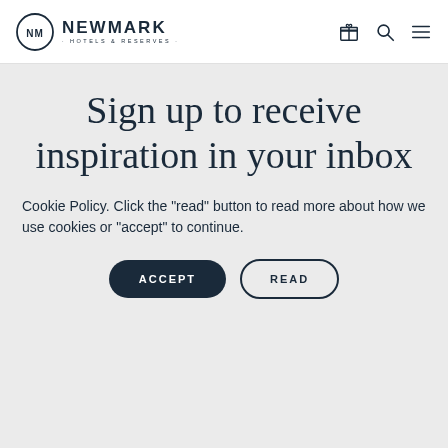NM NEWMARK · HOTELS & RESERVES ·
Sign up to receive inspiration in your inbox
Cookie Policy. Click the "read" button to read more about how we use cookies or "accept" to continue.
ACCEPT
READ